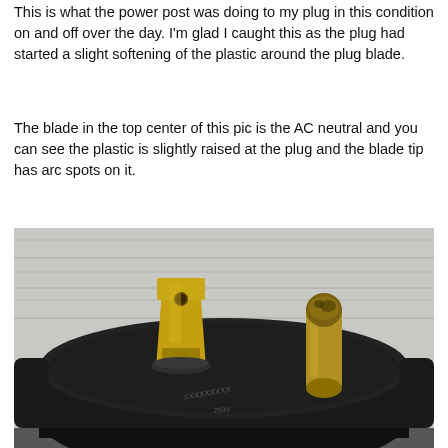This is what the power post was doing to my plug in this condition on and off over the day. I'm glad I caught this as the plug had started a slight softening of the plastic around the plug blade.
The blade in the top center of this pic is the AC neutral and you can see the plastic is slightly raised at the plug and the blade tip has arc spots on it.
[Figure (photo): Close-up photograph of an electrical plug from the back, showing two gold-colored metal blades protruding from a black plastic body. The left blade is flat/wide with a round hole, and the right blade is cylindrical/round. The black plug body shows text markings. The blades show discoloration and arc spots consistent with electrical arcing damage.]